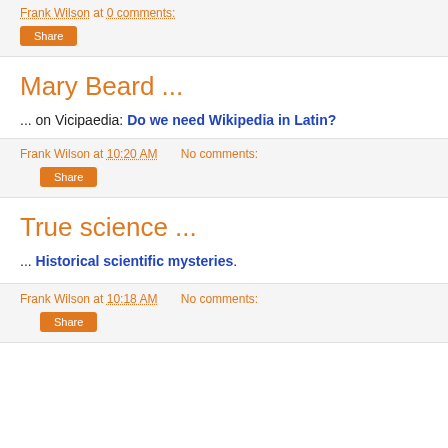Share
Mary Beard ...
... on Vicipaedia: Do we need Wikipedia in Latin?
Frank Wilson at 10:20 AM   No comments:
Share
True science ...
... Historical scientific mysteries.
Frank Wilson at 10:18 AM   No comments:
Share